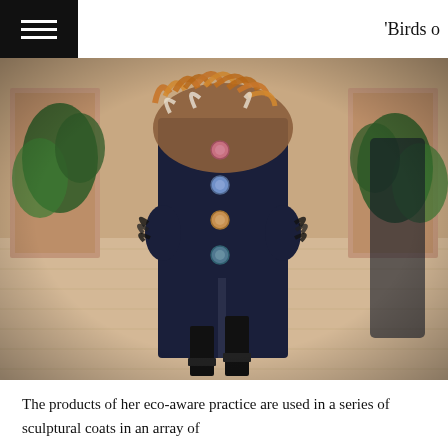'Birds o
[Figure (photo): Fashion runway photograph showing a model wearing a long dark navy sculptural coat with colorful buttons and fur/feather collar detailing, walking on a wood-paneled runway floor with an ornate room in the background.]
The products of her eco-aware practice are used in a series of sculptural coats in an array of